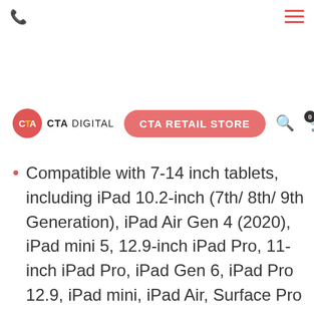CTA DIGITAL - CTA RETAIL STORE
Compatible with 7-14 inch tablets, including iPad 10.2-inch (7th/ 8th/ 9th Generation), iPad Air Gen 4 (2020), iPad mini 5, 12.9-inch iPad Pro, 11-inch iPad Pro, iPad Gen 6, iPad Pro 12.9, iPad mini, iPad Air, Surface Pro